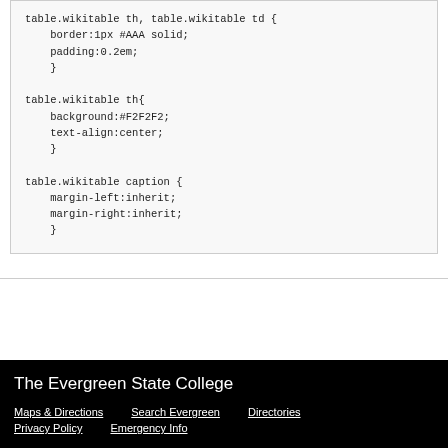table.wikitable th, table.wikitable td {
    border:1px #AAA solid;
    padding:0.2em;
    }

table.wikitable th{
    background:#F2F2F2;
    text-align:center;
    }

table.wikitable caption {
    margin-left:inherit;
    margin-right:inherit;
    }
The Evergreen State College
Maps & Directions   Search Evergreen   Directories
Privacy Policy   Emergency Info